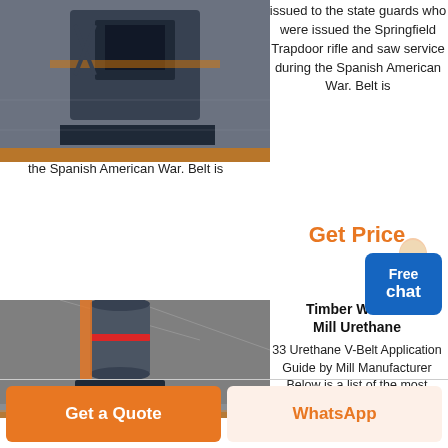[Figure (photo): Industrial mill or crusher machine in a factory setting, dark blue/grey machine with square opening visible at top]
issued to the state guards who were issued the Springfield Trapdoor rifle and saw service during the Spanish American War. Belt is
Get Price
[Figure (photo): Large industrial vertical mill machine in a warehouse/factory with high ceiling, grey cylindrical machine on black base frame]
Timber Wolf Ba Mill Urethane
33 Urethane V-Belt Application Guide by Mill Manufacturer Below is a list of the most common
Get Price
Get a Quote
WhatsApp